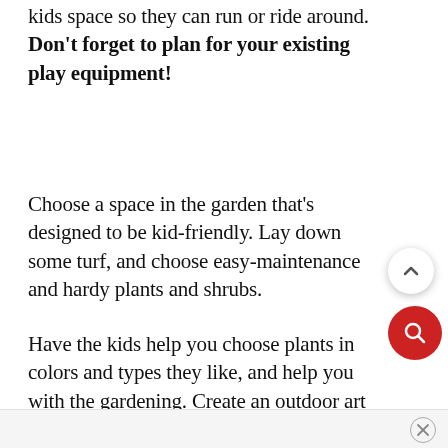kids space so they can run or ride around. Don't forget to plan for your existing play equipment!
Choose a space in the garden that's designed to be kid-friendly. Lay down some turf, and choose easy-maintenance and hardy plants and shrubs.
Have the kids help you choose plants in colors and types they like, and help you with the gardening. Create an outdoor art gallery with a high fence s the whole family can display their works!